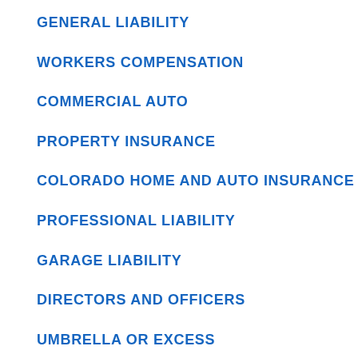GENERAL LIABILITY
WORKERS COMPENSATION
COMMERCIAL AUTO
PROPERTY INSURANCE
COLORADO HOME AND AUTO INSURANCE
PROFESSIONAL LIABILITY
GARAGE LIABILITY
DIRECTORS AND OFFICERS
UMBRELLA OR EXCESS